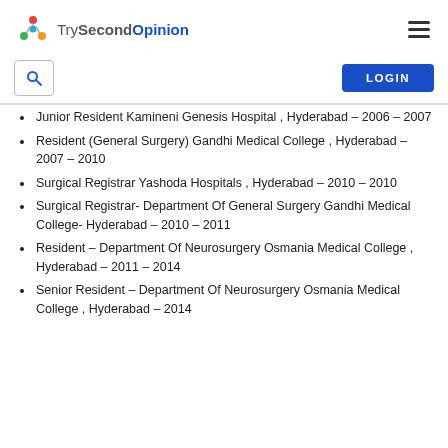TrySecondOpinion
Junior Resident Kamineni Genesis Hospital , Hyderabad – 2006 – 2007
Resident (General Surgery) Gandhi Medical College , Hyderabad – 2007 – 2010
Surgical Registrar Yashoda Hospitals , Hyderabad – 2010 – 2010
Surgical Registrar- Department Of General Surgery Gandhi Medical College- Hyderabad – 2010 – 2011
Resident – Department Of Neurosurgery Osmania Medical College , Hyderabad – 2011 – 2014
Senior Resident – Department Of Neurosurgery Osmania Medical College , Hyderabad – 2014